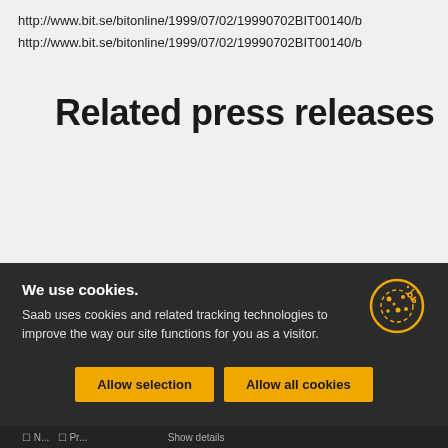http://www.bit.se/bitonline/1999/07/02/19990702BIT00140/b
http://www.bit.se/bitonline/1999/07/02/19990702BIT00140/b
Related press releases
22 AUG
We use cookies. Saab uses cookies and related tracking technologies to improve the way our site functions for you as a visitor.
Allow selection
Allow all cookies